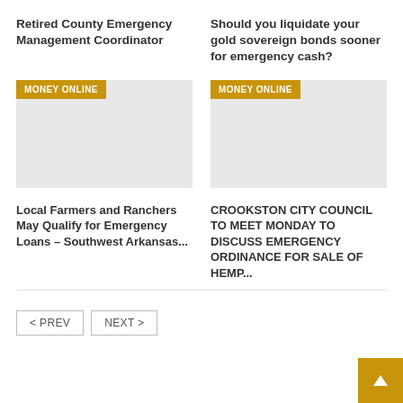Retired County Emergency Management Coordinator
Should you liquidate your gold sovereign bonds sooner for emergency cash?
[Figure (other): Image placeholder with MONEY ONLINE tag overlay]
[Figure (other): Image placeholder with MONEY ONLINE tag overlay]
Local Farmers and Ranchers May Qualify for Emergency Loans – Southwest Arkansas...
CROOKSTON CITY COUNCIL TO MEET MONDAY TO DISCUSS EMERGENCY ORDINANCE FOR SALE OF HEMP...
< PREV   NEXT >